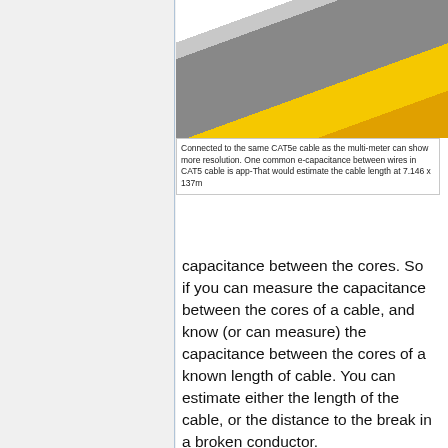[Figure (photo): Photo of a yellow cable (CAT5e) against a gray surface, partially cropped at top]
Connected to the same CAT5e cable as the multi-meter can show more resolution. One common e-capacitance between wires in CAT5 cable is app-That would estimate the cable length at 7.146 x 137m
capacitance between the cores. So if you can measure the capacitance between the cores of a cable, and know (or can measure) the capacitance between the cores of a known length of cable. You can estimate either the length of the cable, or the distance to the break in a broken conductor.
The snag is that the capacitance of a length of cable is tiny (we are talking pico Farads per meter (where 1 pF = 0.000000000001 Farad!)). So to use this directly you will need a sensitive meter